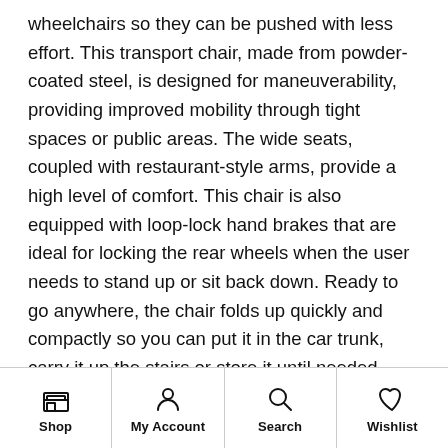wheelchairs so they can be pushed with less effort. This transport chair, made from powder-coated steel, is designed for maneuverability, providing improved mobility through tight spaces or public areas. The wide seats, coupled with restaurant-style arms, provide a high level of comfort. This chair is also equipped with loop-lock hand brakes that are ideal for locking the rear wheels when the user needs to stand up or sit back down. Ready to go anywhere, the chair folds up quickly and compactly so you can put it in the car trunk, carry it up the stairs or store it until needed again. Making the right health decisions can be challenging. With a complete range of products and simple solutions, Equate allows you to take care of your family with confidence. Equate Transport Wheelchair, Black: Wide comfortable seat Durable steel frame Restaurant style arms for sitting close to tables or desks Loop-style brakes easily lock and
Shop | My Account | Search | Wishlist